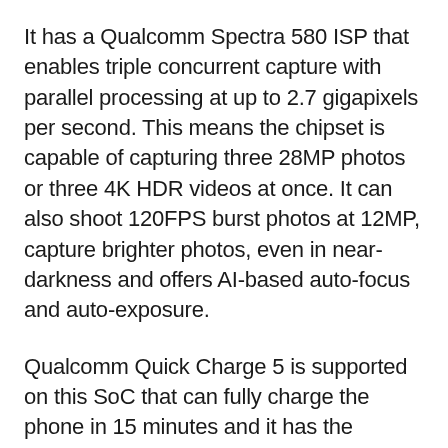It has a Qualcomm Spectra 580 ISP that enables triple concurrent capture with parallel processing at up to 2.7 gigapixels per second. This means the chipset is capable of capturing three 28MP photos or three 4K HDR videos at once. It can also shoot 120FPS burst photos at 12MP, capture brighter photos, even in near-darkness and offers AI-based auto-focus and auto-exposure.
Qualcomm Quick Charge 5 is supported on this SoC that can fully charge the phone in 15 minutes and it has the Qualcomm Aqstic smart speaker amplifier (WSA8835) which can deliver a 7.3W output power. It is also